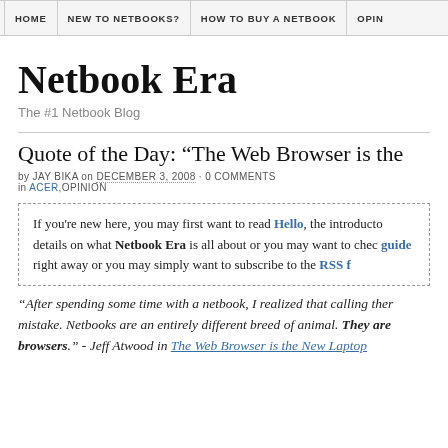HOME | NEW TO NETBOOKS? | HOW TO BUY A NETBOOK | OPIN...
Netbook Era
The #1 Netbook Blog
Quote of the Day: “The Web Browser is the...
by JAY BIKA on DECEMBER 3, 2008 · 0 COMMENTS
in ACER,OPINION
If you're new here, you may first want to read Hello, the introductory details on what Netbook Era is all about or you may want to check the guide right away or you may simply want to subscribe to the RSS f...
“After spending some time with a netbook, I realized that calling them a mistake. Netbooks are an entirely different breed of animal. They are browsers.” - Jeff Atwood in The Web Browser is the New Laptop...